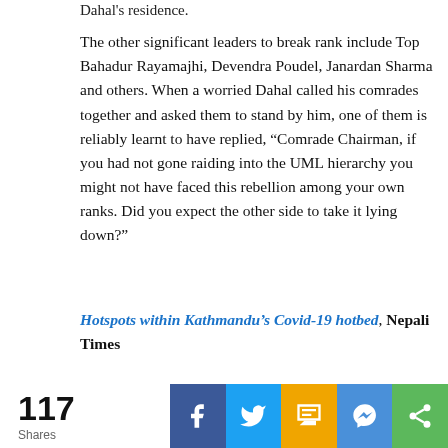Dahal's residence.
The other significant leaders to break rank include Top Bahadur Rayamajhi, Devendra Poudel, Janardan Sharma and others. When a worried Dahal called his comrades together and asked them to stand by him, one of them is reliably learnt to have replied, “Comrade Chairman, if you had not gone raiding into the UML hierarchy you might not have faced this rebellion among your own ranks. Did you expect the other side to take it lying down?”
Hotspots within Kathmandu’s Covid-19 hotbed, Nepali Times
As Dahal’s grip on the reins begins to loosen, will
117 Shares